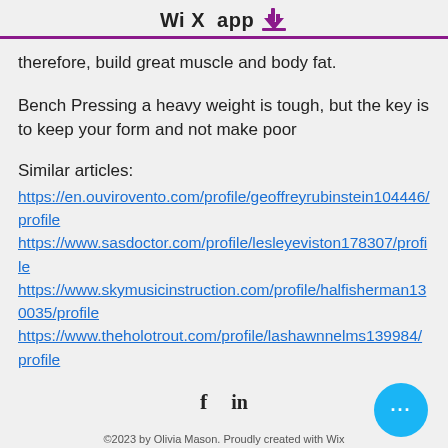WiX app
therefore, build great muscle and body fat.
Bench Pressing a heavy weight is tough, but the key is to keep your form and not make poor
Similar articles:
https://en.ouvirovento.com/profile/geoffreyrubinstein104446/profile https://www.sasdoctor.com/profile/lesleyeviston178307/profile https://www.skymusicinstruction.com/profile/halfisherman130035/profile https://www.theholotrout.com/profile/lashawnnelms139984/profile
©2023 by Olivia Mason. Proudly created with Wix